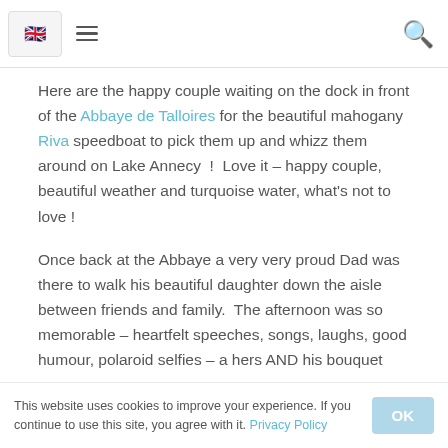[UK flag icon] [hamburger menu] [search icon]
Here are the happy couple waiting on the dock in front of the Abbaye de Talloires for the beautiful mahogany Riva speedboat to pick them up and whizz them around on Lake Annecy ! Love it – happy couple, beautiful weather and turquoise water, what's not to love !
Once back at the Abbaye a very very proud Dad was there to walk his beautiful daughter down the aisle between friends and family. The afternoon was so memorable – heartfelt speeches, songs, laughs, good humour, polaroid selfies – a hers AND his bouquet
This website uses cookies to improve your experience. If you continue to use this site, you agree with it. Privacy Policy [OK]